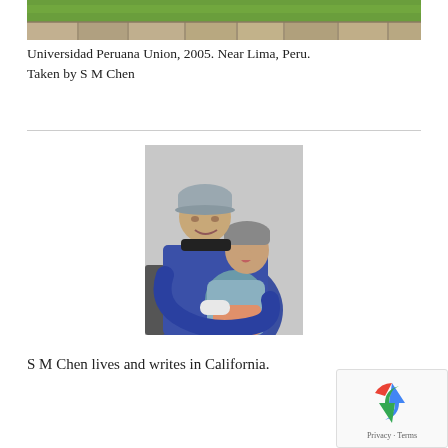[Figure (photo): Top portion of a photo showing grass and stone ruins, Universidad Peruana Union near Lima, Peru, 2005]
Universidad Peruana Union, 2005. Near Lima, Peru. Taken by S M Chen
[Figure (photo): A man wearing a gray cap and blue sweater holding a young child in his lap, smiling. Both seated against a white wall.]
S M Chen lives and writes in California.